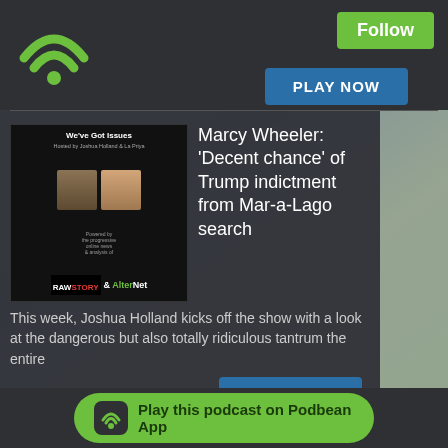[Figure (logo): Podbean wifi/podcast icon in green at top left]
Follow
PLAY NOW
[Figure (photo): We've Got Issues podcast thumbnail - hosted by Joshua Holland & La Priya, powered by RawStory and AlterNet]
Marcy Wheeler: 'Decent chance' of Trump indictment from Mar-a-Lago search
This week, Joshua Holland kicks off the show with a look at the dangerous but also totally ridiculous tantrum the entire
PLAY NOW
[Figure (photo): We've Got Issues podcast thumbnail - hosted by Joshua Holland & La Priya, powered by RawStory and AlterNet]
Amanda Marcotte: 'Not one' anti-abortion Republican 'gives a crap if women die'
Play this podcast on Podbean App